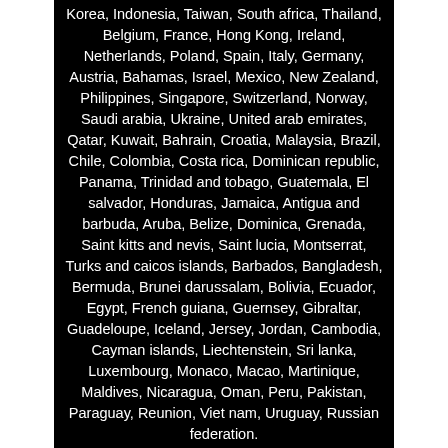Korea, Indonesia, Taiwan, South africa, Thailand, Belgium, France, Hong Kong, Ireland, Netherlands, Poland, Spain, Italy, Germany, Austria, Bahamas, Israel, Mexico, New Zealand, Philippines, Singapore, Switzerland, Norway, Saudi arabia, Ukraine, United arab emirates, Qatar, Kuwait, Bahrain, Croatia, Malaysia, Brazil, Chile, Colombia, Costa rica, Dominican republic, Panama, Trinidad and tobago, Guatemala, El salvador, Honduras, Jamaica, Antigua and barbuda, Aruba, Belize, Dominica, Grenada, Saint kitts and nevis, Saint lucia, Montserrat, Turks and caicos islands, Barbados, Bangladesh, Bermuda, Brunei darussalam, Bolivia, Ecuador, Egypt, French guiana, Guernsey, Gibraltar, Guadeloupe, Iceland, Jersey, Jordan, Cambodia, Cayman islands, Liechtenstein, Sri lanka, Luxembourg, Monaco, Macao, Martinique, Maldives, Nicaragua, Oman, Peru, Pakistan, Paraguay, Reunion, Viet nam, Uruguay, Russian federation.